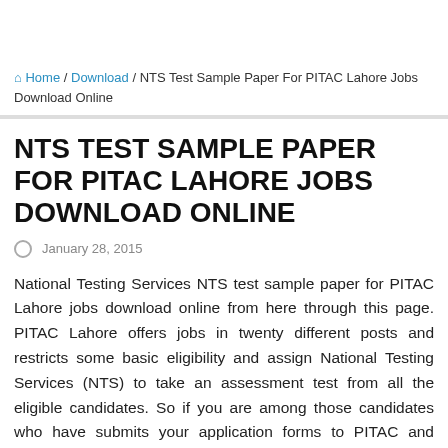Home / Download / NTS Test Sample Paper For PITAC Lahore Jobs Download Online
NTS TEST SAMPLE PAPER FOR PITAC LAHORE JOBS DOWNLOAD ONLINE
January 28, 2015
National Testing Services NTS test sample paper for PITAC Lahore jobs download online from here through this page. PITAC Lahore offers jobs in twenty different posts and restricts some basic eligibility and assign National Testing Services (NTS) to take an assessment test from all the eligible candidates. So if you are among those candidates who have submits your application forms to PITAC and searching for NTS test sample paper for PITAC Lahore jobs download online. You